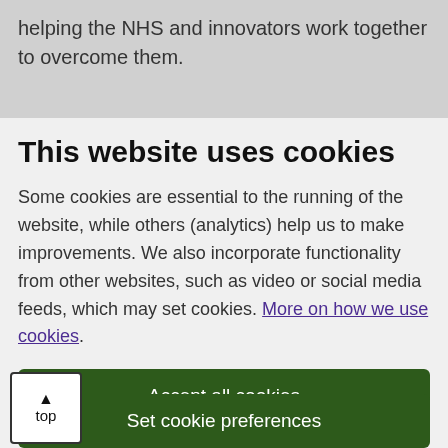helping the NHS and innovators work together to overcome them.
This website uses cookies
Some cookies are essential to the running of the website, while others (analytics) help us to make improvements. We also incorporate functionality from other websites, such as video or social media feeds, which may set cookies. More on how we use cookies.
Accept all cookies
Set cookie preferences